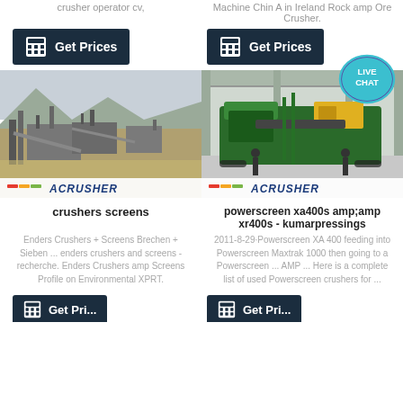crusher operator cv,
Machine Chin A in Ireland Rock amp Ore Crusher.
[Figure (other): Dark navy 'Get Prices' button with calculator icon, left column]
[Figure (other): Dark navy 'Get Prices' button with calculator icon, right column]
[Figure (other): Live Chat badge, teal/purple speech bubble with 'LIVE CHAT' text]
[Figure (photo): Outdoor quarry/crushing plant scene with industrial equipment, mountains in background, Acrusher logo watermark at bottom]
[Figure (photo): Indoor warehouse with green mobile crushing machine, two workers visible, Acrusher logo watermark at bottom]
crushers screens
powerscreen xa400s amp;amp xr400s - kumarpressings
Enders Crushers + Screens Brechen + Sieben ... enders crushers and screens - recherche. Enders Crushers amp Screens Profile on Environmental XPRT.
2011-8-29·Powerscreen XA 400 feeding into Powerscreen Maxtrak 1000 then going to a Powerscreen ... AMP ... Here is a complete list of used Powerscreen crushers for ...
[Figure (other): Partially visible 'Get Prices' button, left column, bottom]
[Figure (other): Partially visible 'Get Prices' button, right column, bottom]